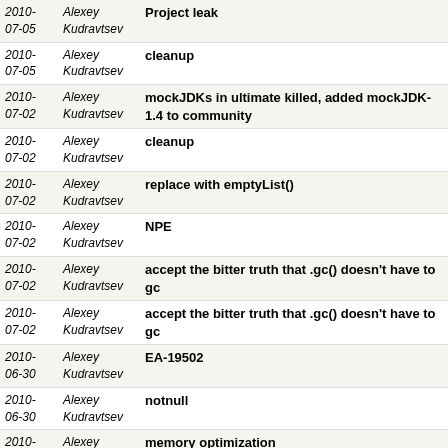| Date | Author | Message |
| --- | --- | --- |
| 2010-07-05 | Alexey Kudravtsev | Project leak |
| 2010-07-05 | Alexey Kudravtsev | cleanup |
| 2010-07-02 | Alexey Kudravtsev | mockJDKs in ultimate killed, added mockJDK-1.4 to community |
| 2010-07-02 | Alexey Kudravtsev | cleanup |
| 2010-07-02 | Alexey Kudravtsev | replace with emptyList() |
| 2010-07-02 | Alexey Kudravtsev | NPE |
| 2010-07-02 | Alexey Kudravtsev | accept the bitter truth that .gc() doesn't have to gc |
| 2010-07-02 | Alexey Kudravtsev | accept the bitter truth that .gc() doesn't have to gc |
| 2010-06-30 | Alexey Kudravtsev | EA-19502 |
| 2010-06-30 | Alexey Kudravtsev | notnull |
| 2010-06-30 | Alexey Kudravtsev | memory optimization |
| 2010-06-30 | Alexey Kudravtsev | memory optimization |
next